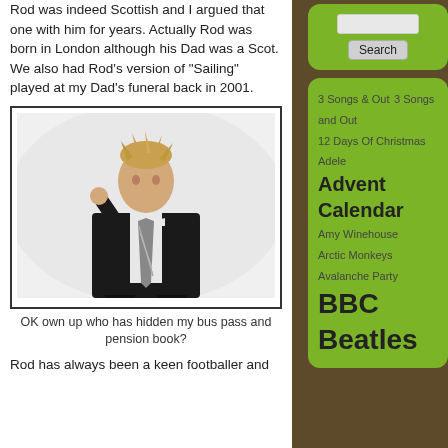Rod was indeed Scottish and I argued that one with him for years. Actually Rod was born in London although his Dad was a Scot. We also had Rod's version of "Sailing" played at my Dad's funeral back in 2001.
[Figure (photo): Man in a dark suit with a striped tie posing confidently against a white background, hand raised to his forehead.]
OK own up who has hidden my bus pass and pension book?
Rod has always been a keen footballer and
[Figure (other): Sidebar search widget with input field and Search button on green rounded rectangle background.]
3 Songs & Out
3 Songs and Out
12 Days Of Christmas
Adele
Advent Calendar
Amy Winehouse
Arctic Monkeys
Avalanche Party
BBC
Beatles